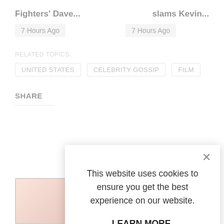Fighters' Dave...
slams Kevin...
7 Hours Ago
7 Hours Ago
RELATED TOPICS:
UNITED STATES    CELEBRITY GOSSIP    FILM
SHARE
This website uses cookies to ensure you get the best experience on our website.

LEARN MORE.
ACCEPT COOKIES